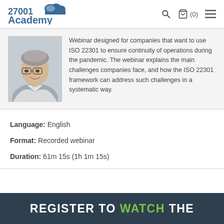27001 Academy — ISO 27001 and ISO 22301 Online Consultation Center | Search | Cart (0) | Menu
[Figure (photo): Portrait photo of a man with glasses and grey hair, smiling, wearing a light shirt]
Webinar designed for companies that want to use ISO 22301 to ensure continuity of operations during the pandemic. The webinar explains the main challenges companies face, and how the ISO 22301 framework can address such challenges in a systematic way.
Language: English
Format: Recorded webinar
Duration: 61m 15s (1h 1m 15s)
REGISTER TO WATCH THE